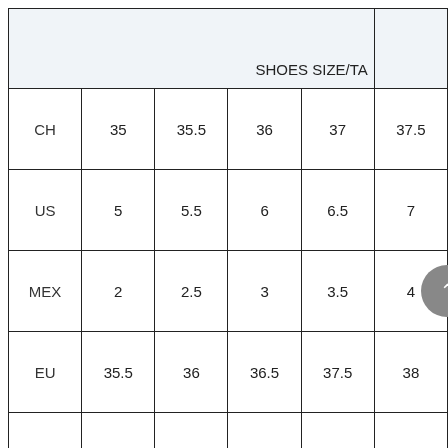|  | 35 | 35.5 | 36 | 37 | 37.5 |
| --- | --- | --- | --- | --- | --- |
| CH | 35 | 35.5 | 36 | 37 | 37.5 |
| US | 5 | 5.5 | 6 | 6.5 | 7 |
| MEX | 2 | 2.5 | 3 | 3.5 | 4 |
| EU | 35.5 | 36 | 36.5 | 37.5 | 38 |
|  |  |  |  |  |  |